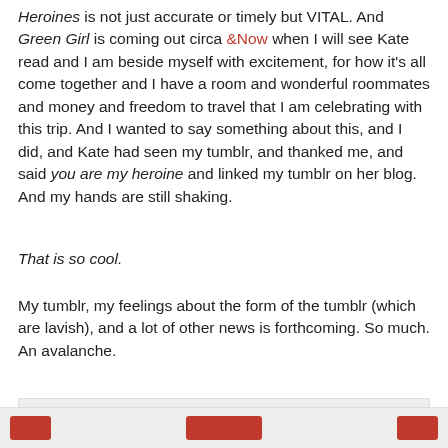Heroines is not just accurate or timely but VITAL. And Green Girl is coming out circa &Now when I will see Kate read and I am beside myself with excitement, for how it's all come together and I have a room and wonderful roommates and money and freedom to travel that I am celebrating with this trip. And I wanted to say something about this, and I did, and Kate had seen my tumblr, and thanked me, and said you are my heroine and linked my tumblr on her blog. And my hands are still shaking.
That is so cool.
My tumblr, my feelings about the form of the tumblr (which are lavish), and a lot of other news is forthcoming. So much. An avalanche.
Unknown at 10:28 PM   No comments:   Share